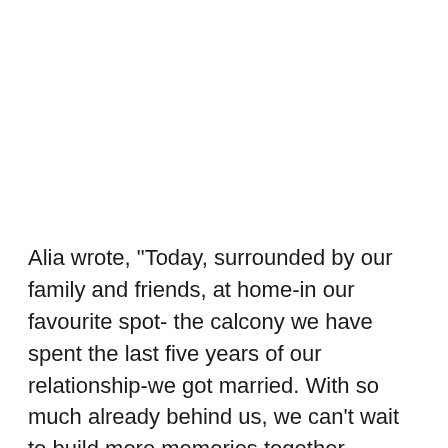Alia wrote, "Today, surrounded by our family and friends, at home-in our favourite spot- the calcony we have spent the last five years of our relationship-we got married. With so much already behind us, we can't wait to build more memories together…memories that are full of love, laughter, comfortable silence, movie nights, silly fights, wine delights and Chinese bites. Thank you for all the love and light during this very momentous time in our lives. It has made this moment al the more special. Love